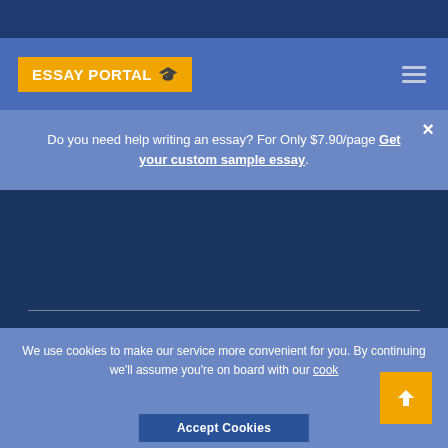ESSAY PORTAL
Do you need help writing an essay? For Only $7.90/page Get your custom sample essay.
Research Paper Topics Essay
Rules on how to write a 1000 word essay perfectly
American Governmental policies Term Daily news
Apa Research and Bibliography Activity E...
We use cookies to make our service more convenient for you. By continuing we'll assume you're on board with our cookie policy.